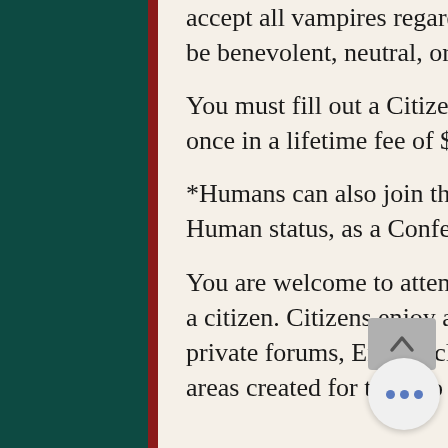accept all vampires regardless of their alignment, whether it be benevolent, neutral, or malevolent. You must fill out a Citizenship Registration form and pay a once in a lifetime fee of $65.

*Humans can also join the Empire, however they are given Human status, as a Confederate of the Empire.

You are welcome to attend our events if you decide not to be a citizen. Citizens enjoy access to the online reference area, private forums, Empire chat, Celestial Gallery, and other areas created for them to enjoy.